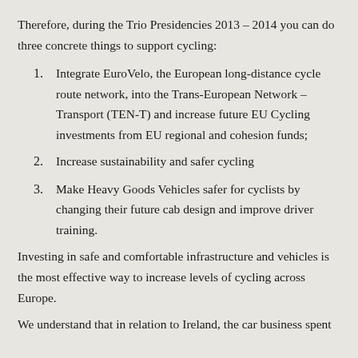Therefore, during the Trio Presidencies 2013 – 2014 you can do three concrete things to support cycling:
1. Integrate EuroVelo, the European long-distance cycle route network, into the Trans-European Network – Transport (TEN-T) and increase future EU Cycling investments from EU regional and cohesion funds;
2. Increase sustainability and safer cycling
3. Make Heavy Goods Vehicles safer for cyclists by changing their future cab design and improve driver training.
Investing in safe and comfortable infrastructure and vehicles is the most effective way to increase levels of cycling across Europe.
We understand that in relation to Ireland, the car business spent